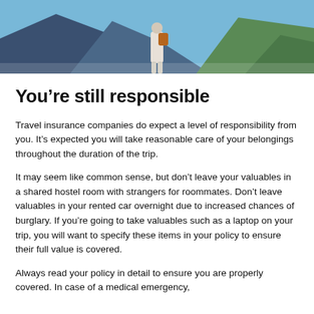[Figure (photo): Person with orange backpack standing on a mountain ridge with blue sky and green mountainside in background]
You’re still responsible
Travel insurance companies do expect a level of responsibility from you. It’s expected you will take reasonable care of your belongings throughout the duration of the trip.
It may seem like common sense, but don’t leave your valuables in a shared hostel room with strangers for roommates. Don’t leave valuables in your rented car overnight due to increased chances of burglary. If you’re going to take valuables such as a laptop on your trip, you will want to specify these items in your policy to ensure their full value is covered.
Always read your policy in detail to ensure you are properly covered. In case of a medical emergency,